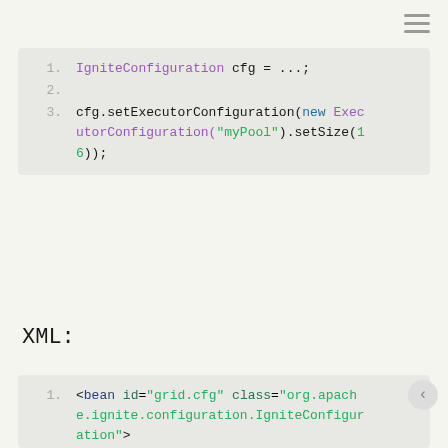[Figure (other): Hamburger menu icon (three horizontal lines) in top-right corner]
IgniteConfiguration cfg = ...;

cfg.setExecutorConfiguration(new ExecutorConfiguration("myPool").setSize(16));
XML:
<bean id="grid.cfg" class="org.apache.ignite.configuration.IgniteConfiguration">
    ...
    <property name="executorConfiguration">
        <list>
            <bean class="org.apache.ignite.configuration.ExecutorConfiguration">
                <property name="name" value="myPool"/>
                <property name="size" value